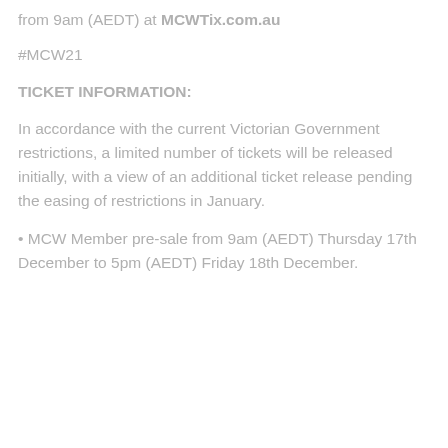from 9am (AEDT) at MCWTix.com.au
#MCW21
TICKET INFORMATION:
In accordance with the current Victorian Government restrictions, a limited number of tickets will be released initially, with a view of an additional ticket release pending the easing of restrictions in January.
• MCW Member pre-sale from 9am (AEDT) Thursday 17th December to 5pm (AEDT) Friday 18th December.